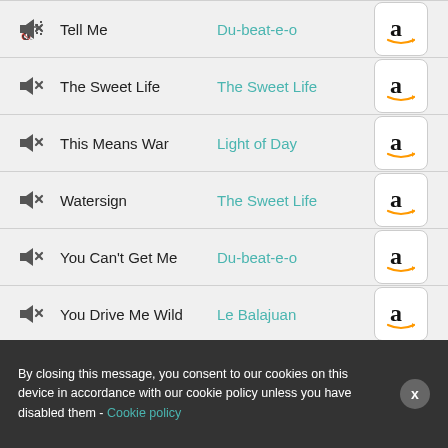Tell Me | Du-beat-e-o
The Sweet Life | The Sweet Life
This Means War | Light of Day
Watersign | The Sweet Life
You Can't Get Me | Du-beat-e-o
You Drive Me Wild | Le Balajuan
By closing this message, you consent to our cookies on this device in accordance with our cookie policy unless you have disabled them - Cookie policy